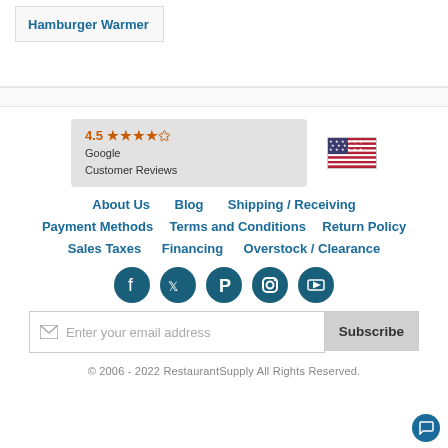Hamburger Warmer
[Figure (other): Google Customer Reviews badge showing 4.5 stars rating, and a US flag icon]
About Us
Blog
Shipping / Receiving
Payment Methods
Terms and Conditions
Return Policy
Sales Taxes
Financing
Overstock / Clearance
[Figure (other): Social media icons row: Facebook, Twitter, Pinterest, Instagram, YouTube]
Enter your email address Subscribe
© 2006 - 2022 RestaurantSupply All Rights Reserved.